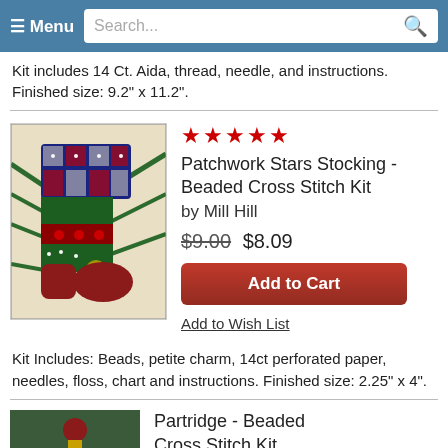≡ Menu  Search...
Kit includes 14 Ct. Aida, thread, needle, and instructions. Finished size: 9.2" x 11.2".
[Figure (photo): Photo of a beaded cross stitch Christmas stocking ornament with patchwork star pattern, displayed on pine branches]
★★★★★
Patchwork Stars Stocking - Beaded Cross Stitch Kit
by Mill Hill
$9.00 $8.09
Add to Cart
Add to Wish List
Kit Includes: Beads, petite charm, 14ct perforated paper, needles, floss, chart and instructions. Finished size: 2.25" x 4".
[Figure (photo): Photo of a Partridge beaded cross stitch kit product]
Partridge - Beaded Cross Stitch Kit